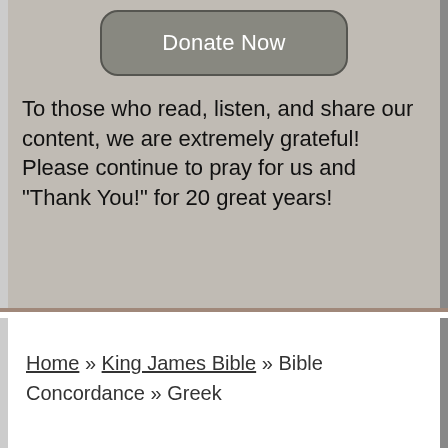[Figure (other): Donate Now button, rounded rectangle, gray background]
To those who read, listen, and share our content, we are extremely grateful! Please continue to pray for us and "Thank You!" for 20 great years!
Home » King James Bible » Bible Concordance » Greek